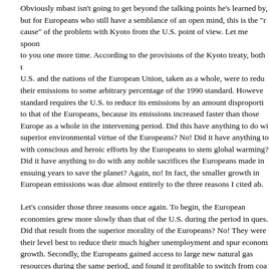Obviously mbast isn't going to get beyond the talking points he's learned by, but for Europeans who still have a semblance of an open mind, this is the "cause" of the problem with Kyoto from the U.S. point of view. Let me spoon to you one more time. According to the provisions of the Kyoto treaty, both the U.S. and the nations of the European Union, taken as a whole, were to reduce their emissions to some arbitrary percentage of the 1990 standard. However, standard requires the U.S. to reduce its emissions by an amount disproporti to that of the Europeans, because its emissions increased faster than those Europe as a whole in the intervening period. Did this have anything to do with superior environmental virtue of the Europeans? No! Did it have anything to with conscious and heroic efforts by the Europeans to stem global warming? Did it have anything to do with any noble sacrifices the Europeans made in ensuing years to save the planet? Again, no! In fact, the smaller growth in European emissions was due almost entirely to the three reasons I cited ab.
Let's consider those three reasons once again. To begin, the European economies grew more slowly than that of the U.S. during the period in ques. Did that result from the superior morality of the Europeans? No! They were their level best to reduce their much higher unemployment and spur econom growth. Secondly, the Europeans gained access to large new natural gas resources during the same period, and found it profitable to switch from coal oil-fired power plants to natural gas. Was the US remiss in its concern for the environment because, for reasons that were completely out of its control, it not gain access to any similar new reserves of natural gas in the same peri.